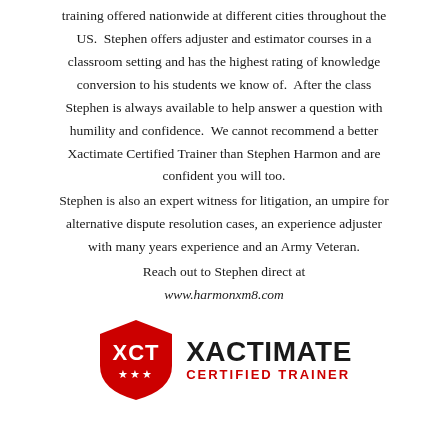training offered nationwide at different cities throughout the US. Stephen offers adjuster and estimator courses in a classroom setting and has the highest rating of knowledge conversion to his students we know of. After the class Stephen is always available to help answer a question with humility and confidence. We cannot recommend a better Xactimate Certified Trainer than Stephen Harmon and are confident you will too.
Stephen is also an expert witness for litigation, an umpire for alternative dispute resolution cases, an experience adjuster with many years experience and an Army Veteran.
Reach out to Stephen direct at
www.harmonxm8.com
[Figure (logo): Xactimate Certified Trainer logo: red shield with 'XCT' text and three stars, next to bold 'XACTIMATE' and red 'CERTIFIED TRAINER' text]